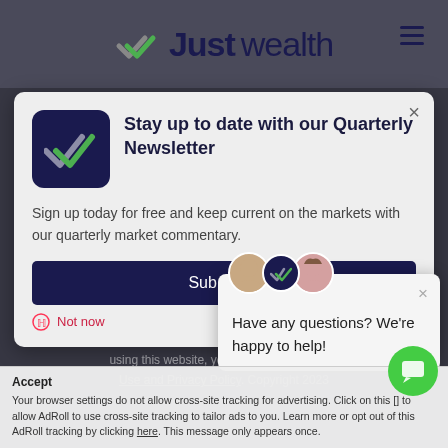[Figure (logo): Justwealth logo with double checkmark icon in dark navy and green, and hamburger menu icon]
Stay up to date with our Quarterly Newsletter
Sign up today for free and keep current on the markets with our quarterly market commentary.
Subscribe
Not now
Have any questions? We're happy to help!
using this website, you accept our Terms of Use and Privacy Policy. Copyright 2023
Accept  ×
Your browser settings do not allow cross-site tracking for advertising. Click on this [button] to allow AdRoll to use cross-site tracking to tailor ads to you. Learn more or opt out of this AdRoll tracking by clicking here. This message only appears once.